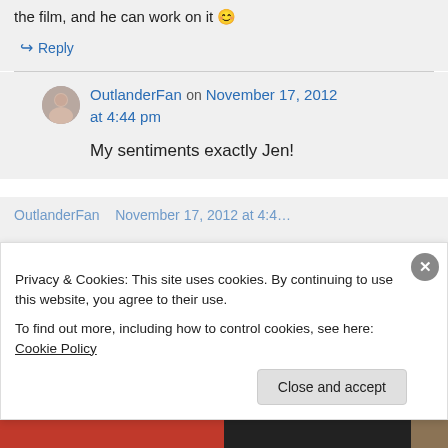the film, and he can work on it 😊
↪ Reply
OutlanderFan on November 17, 2012 at 4:44 pm
My sentiments exactly Jen!
OutlanderFan November 17, 2012 at 4:4...
Privacy & Cookies: This site uses cookies. By continuing to use this website, you agree to their use.
To find out more, including how to control cookies, see here: Cookie Policy
Close and accept